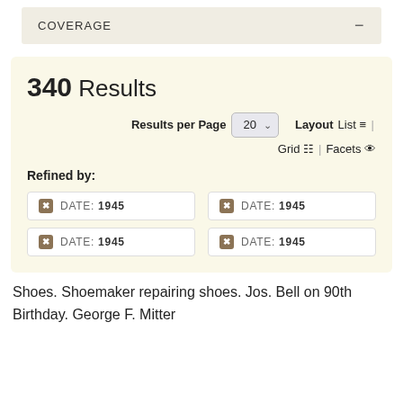COVERAGE −
340 Results
Results per Page 20 ▾  Layout  List ≡ | Grid ⠿ | Facets 👁
Refined by:
✕ DATE: 1945
✕ DATE: 1945
✕ DATE: 1945
✕ DATE: 1945
Shoes. Shoemaker repairing shoes. Jos. Bell on 90th Birthday. George F. Mitter